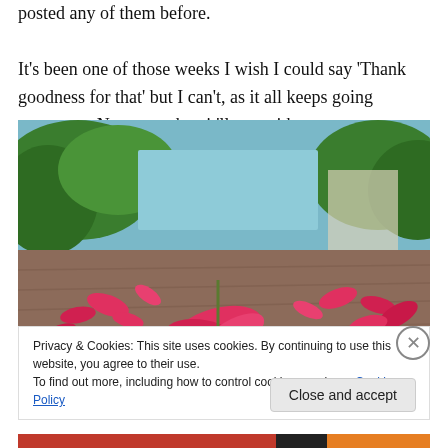posted any of them before.

It's been one of those weeks I wish I could say 'Thank goodness for that' but I can't, as it all keeps going tomorrow. Not sure when it'll stop either.
[Figure (photo): Low-angle photograph of red flower petals fallen on a brick/stone pavement with green bushes and trees visible in the background.]
Privacy & Cookies: This site uses cookies. By continuing to use this website, you agree to their use.
To find out more, including how to control cookies, see here: Cookie Policy
Close and accept